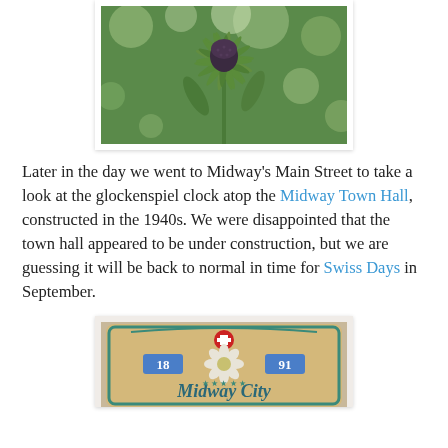[Figure (photo): Close-up photo of a flower bud (coneflower/rudbeckia) with green petals/leaves against a blurred green bokeh background]
Later in the day we went to Midway's Main Street to take a look at the glockenspiel clock atop the Midway Town Hall, constructed in the 1940s. We were disappointed that the town hall appeared to be under construction, but we are guessing it will be back to normal in time for Swiss Days in September.
[Figure (photo): Photo of a Midway City sign showing '1891' with a Swiss cross, edelweiss flower, and decorative elements on a wooden sign. The text 'Midway City' is visible in a Swiss/alpine style font.]